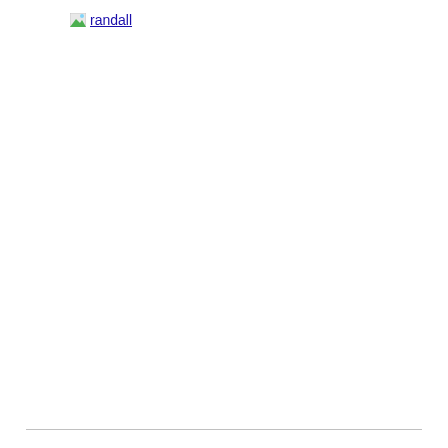[Figure (logo): Randall logo with small image icon and underlined text link reading 'randall']